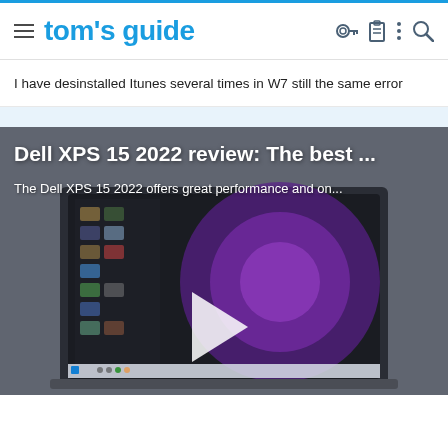tom's guide
I have desinstalled Itunes several times in W7 still the same error
[Figure (screenshot): Video thumbnail of Dell XPS 15 laptop with play button overlay, showing laptop screen with desktop wallpaper]
Dell XPS 15 2022 review: The best ...
The Dell XPS 15 2022 offers great performance and on...